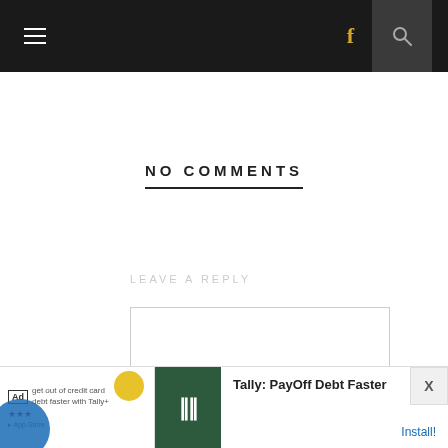Navigation bar with hamburger menu, Facebook icon, and search icon
NO COMMENTS
LEAVE A REPLY
[Figure (screenshot): Empty comment text area input box]
[Figure (screenshot): Ad banner: Tally: PayOff Debt Faster with Install button]